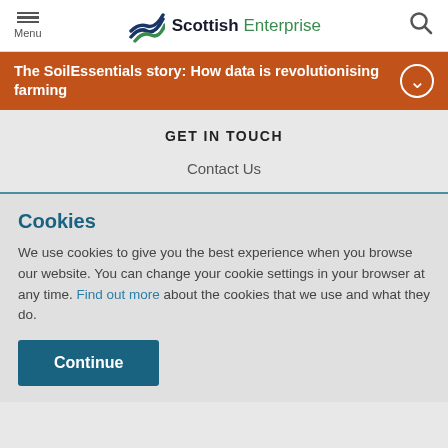Menu | Scottish Enterprise
The SoilEssentials story: How data is revolutionising farming
GET IN TOUCH
Contact Us
Cookies
We use cookies to give you the best experience when you browse our website. You can change your cookie settings in your browser at any time. Find out more about the cookies that we use and what they do.
Continue